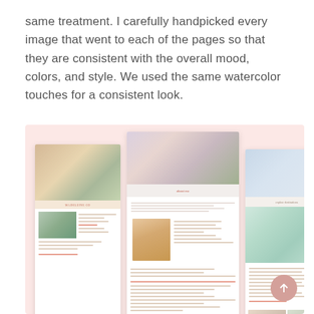same treatment.  I carefully handpicked every image that went to each of the pages so that they are consistent with the overall mood, colors, and style. We used the same watercolor touches for a consistent look.
[Figure (screenshot): A collage of multiple website page mockups displayed on a light pink/blush background, showing various pages of a wedding planner website including home, about, services, and contact pages. The pages feature floral photography, watercolor design elements, and elegant typography. A pink circular back-to-top button appears in the lower right corner.]